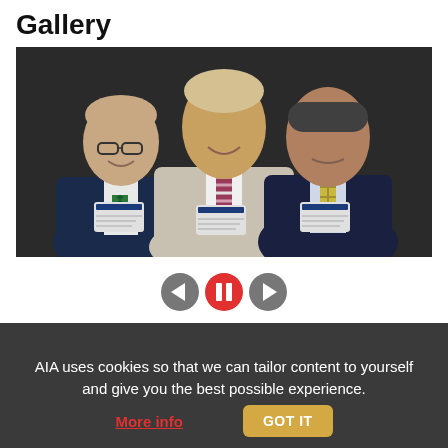Gallery
[Figure (photo): Three men in business attire standing in front of a dark background. Left man wears a navy blazer and green bow tie with a name badge. Center man wears a light gray suit with a striped tie and name badge. Right man wears a dark navy suit with a plaid tie and name badge.]
[Figure (infographic): Media player controls: left arrow (previous), red pause button, right arrow (next)]
AIA uses cookies so that we can tailor content to yourself and give you the best possible experience.
More info
GOT IT